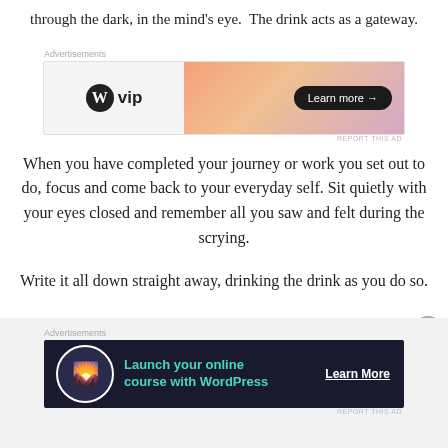through the dark, in the mind's eye. The drink acts as a gateway.
[Figure (other): WordPress VIP advertisement banner with gradient background and 'Learn more' button]
When you have completed your journey or work you set out to do, focus and come back to your everyday self. Sit quietly with your eyes closed and remember all you saw and felt during the scrying.
Write it all down straight away, drinking the drink as you do so.
[Figure (other): WordPress 'Launch your online course with WordPress' advertisement banner on dark background with Learn More button]